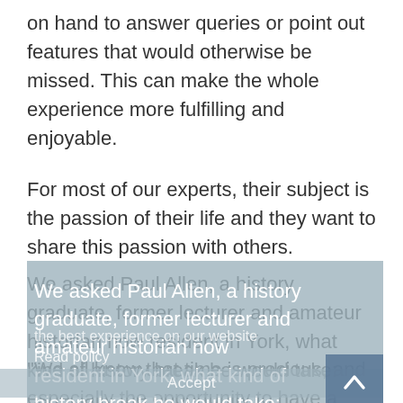on hand to answer queries or point out features that would otherwise be missed. This can make the whole experience more fulfilling and enjoyable.
For most of our experts, their subject is the passion of their life and they want to share this passion with others.
We asked Paul Allen, a history graduate, former lecturer and amateur historian now resident in York, what kind of history break he would take:
"We all know that time is precious, and especially the opportunity to have a well-deserved holiday or short break. For many people the holiday experience is...